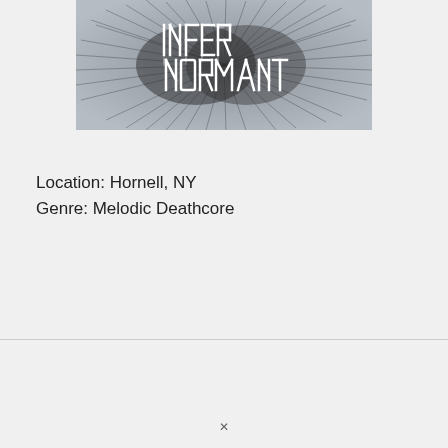[Figure (photo): Black and white photograph of a metal band logo/artwork with scratchy, dark hair-like textures and white angular lettering spelling out what appears to be 'INTERNAL INFORMANT' or similar, over a grey background.]
Location: Hornell, NY
Genre: Melodic Deathcore